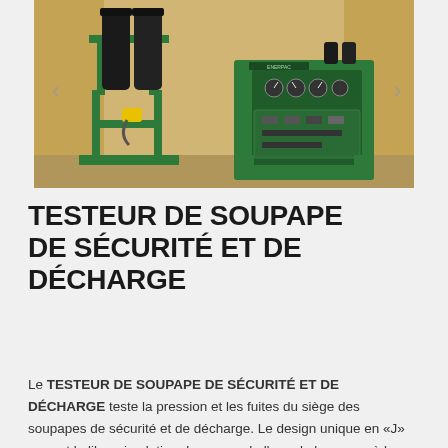[Figure (photo): Photo of a safety and relief valve tester: a green industrial machine with black cylindrical components on a stand on the left, and a green control panel unit on the right, both inside a wooden crate/container.]
TESTEUR DE SOUPAPE DE SÉCURITÉ ET DE DÉCHARGE
Le TESTEUR DE SOUPAPE DE SÉCURITÉ ET DE DÉCHARGE teste la pression et les fuites du siège des soupapes de sécurité et de décharge. Le design unique en «J» permet la libre circulation du gaz ou de l'eau de la source à la soupape de sécurité et de décharge testée, fournissant ainsi